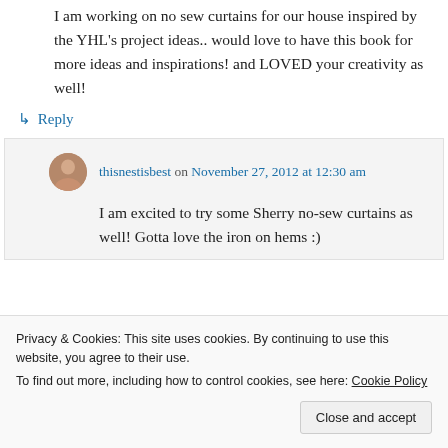I am working on no sew curtains for our house inspired by the YHL's project ideas.. would love to have this book for more ideas and inspirations! and LOVED your creativity as well!
↳ Reply
thisnestisbest on November 27, 2012 at 12:30 am
I am excited to try some Sherry no-sew curtains as well! Gotta love the iron on hems :)
Privacy & Cookies: This site uses cookies. By continuing to use this website, you agree to their use. To find out more, including how to control cookies, see here: Cookie Policy
Close and accept